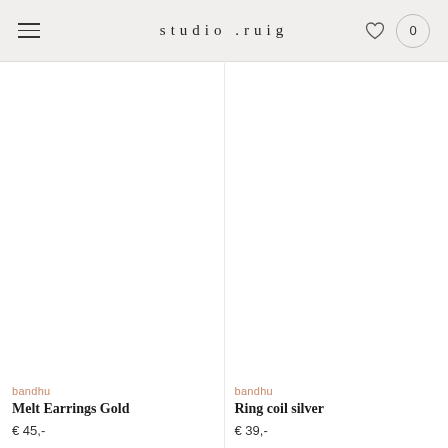studio .ruig
[Figure (photo): Product image placeholder for Melt Earrings Gold — white/blank area]
bandhu
Melt Earrings Gold
€ 45,-
[Figure (photo): Product image placeholder for Ring coil silver — white/blank area]
bandhu
Ring coil silver
€ 39,-